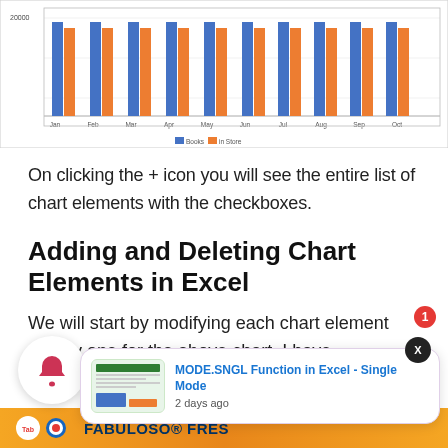[Figure (grouped-bar-chart): Grouped bar chart showing two data series (blue and orange bars) across months Jan through Oct, with y-axis showing values up to 20000.]
On clicking the + icon you will see the entire list of chart elements with the checkboxes.
Adding and Deleting Chart Elements in Excel
We will start by modifying each chart element one by one for the above chart. I have unchecked all of the above chart elements from the chart.
[Figure (screenshot): Notification bell icon with red badge showing '1', and popup card showing 'MODE.SNGL Function in Excel - Single Mode, 2 days ago' with thumbnail. Bottom ad bar showing Fabuloso branding.]